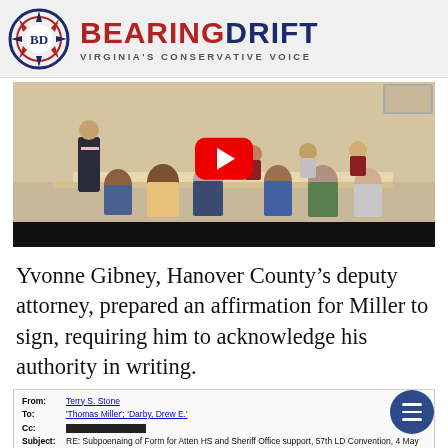[Figure (logo): Bearing Drift logo: compass rose icon with 'BD' monogram, site name 'BEARING DRIFT' in red and navy, tagline 'VIRGINIA'S CONSERVATIVE VOICE']
[Figure (photo): Screenshot of a YouTube video showing a meeting room with people seated around tables, a presenter standing at front, YouTube play button overlay visible in center]
Yvonne Gibney, Hanover County’s deputy attorney, prepared an affirmation for Miller to sign, requiring him to acknowledge his authority in writing.
[Figure (screenshot): Partial email header showing: From: Terry S. Stone, To: 'Thomas Miller'; 'Darby, Drew E.', Cc: [redacted], Subject: RE: Subpoenaing of Form for Atten HS and Sheriff Office support, 57th LD Convention, 4 May 2019]